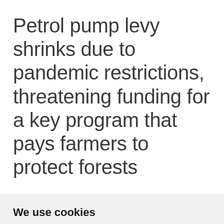Petrol pump levy shrinks due to pandemic restrictions, threatening funding for a key program that pays farmers to protect forests
We use cookies
We use cookies and other tracking technologies to improve your browsing experience on our website, to show you personalized content and targeted ads, to analyze our website traffic, and to understand where our visitors are coming from.